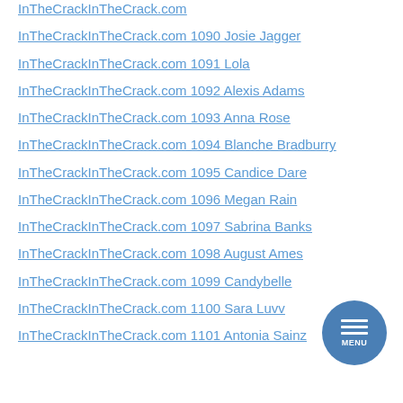InTheCrackInTheCrack.com 1090 Josie Jagger
InTheCrackInTheCrack.com 1091 Lola
InTheCrackInTheCrack.com 1092 Alexis Adams
InTheCrackInTheCrack.com 1093 Anna Rose
InTheCrackInTheCrack.com 1094 Blanche Bradburry
InTheCrackInTheCrack.com 1095 Candice Dare
InTheCrackInTheCrack.com 1096 Megan Rain
InTheCrackInTheCrack.com 1097 Sabrina Banks
InTheCrackInTheCrack.com 1098 August Ames
InTheCrackInTheCrack.com 1099 Candybelle
InTheCrackInTheCrack.com 1100 Sara Luvv
InTheCrackInTheCrack.com 1101 Antonia Sainz